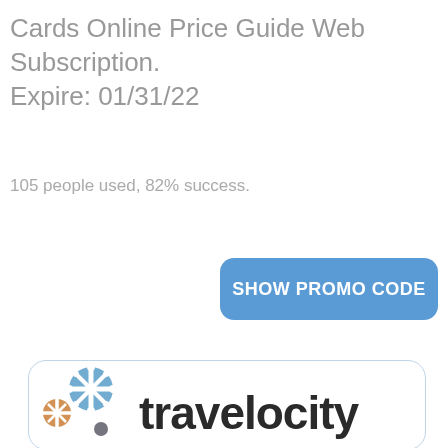Cards Online Price Guide Web Subscription. Expire: 01/31/22
105 people used, 82% success.
SHOW PROMO CODE
[Figure (logo): Travelocity logo with colorful star/snowflake icons and the word travelocity in dark text, inside a rounded rectangle card border]